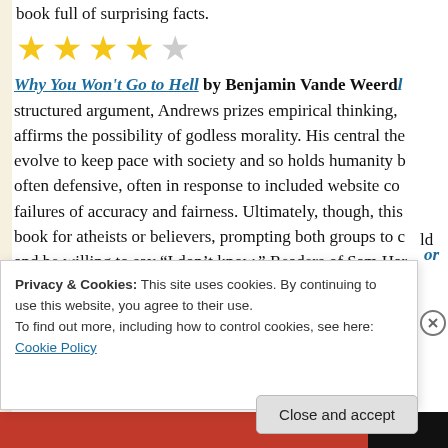book full of surprising facts.
[Figure (other): 4 out of 5 stars rating shown as gold/yellow star icons]
Why You Won't Go to Hell by Benjamin Vande Weerd structured argument, Andrews prizes empirical thinking, affirms the possibility of godless morality. His central the evolve to keep pace with society and so holds humanity b often defensive, often in response to included website co failures of accuracy and fairness. Ultimately, though, this book for atheists or believers, prompting both groups to  and be willing to say “I don’t know.” Readers of Sam Har
Privacy & Cookies: This site uses cookies. By continuing to use this website, you agree to their use.
To find out more, including how to control cookies, see here: Cookie Policy
Close and accept